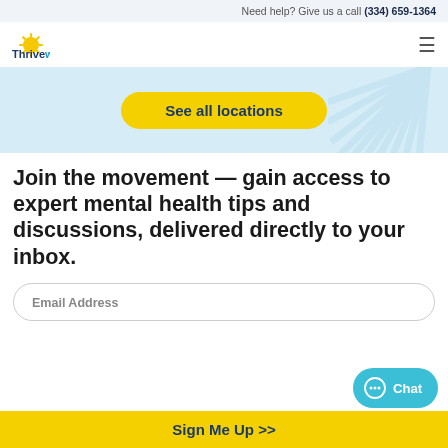Need help? Give us a call (334) 659-1364
[Figure (logo): Thriveworks logo with sun ray icon]
[Figure (illustration): Light blue hero banner with yellow 'See all locations' button and decorative sun rays watermark]
Join the movement — gain access to expert mental health tips and discussions, delivered directly to your inbox.
Email Address
Chat
Sign Me Up >>